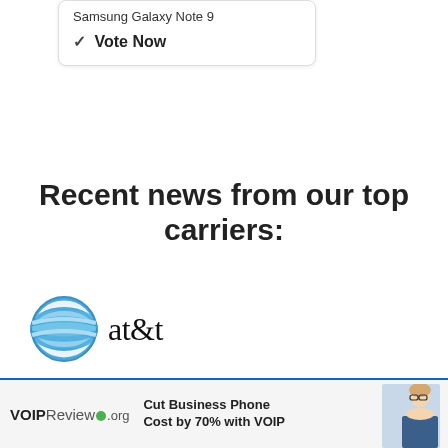Samsung Galaxy Note 9
✓ Vote Now
Recent news from our top carriers:
[Figure (logo): AT&T globe logo and at&t wordmark]
AT&T 5G+ is now live in Chicago
AT&T updating Galaxy Note 20
iPhone 12 mini and iPhone 12 Pro
LG K92 offers 5G, 64MP camera, and
LG Wing 5G launching at AT&T
iPhone 12 and iPhone 12 Pro US
AT&T activates 5G mmWave
[Figure (screenshot): VOIPReview.org advertisement banner: Cut Business Phone Cost by 70% with VOIP]